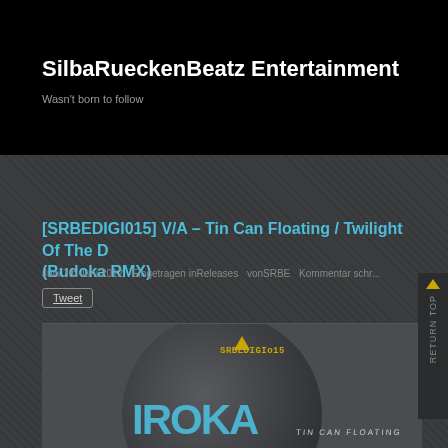SilbaRueckenBeatz Entertainment
Wasn't born to follow
[SRBEDIGI015] V/A – Tin Can Floating / Twilight Of The D (Budoka RMX)
Juni 7th Juni 2012   Eingetragen in Releases   von SRBE   Kommentar schr...
Tweet
[Figure (photo): Album artwork for SRBEDIGI015 showing circular graphic with BUDOKA text in blue and TIN CAN FLOATING text, with yellow triangle and label text]